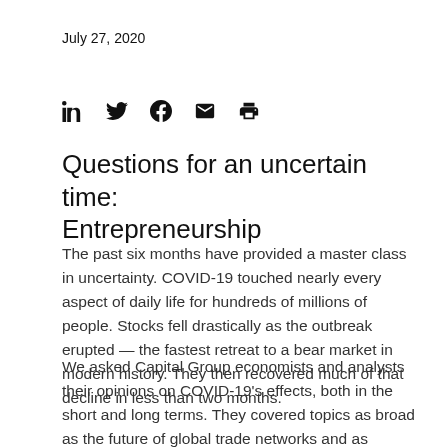July 27, 2020
[Figure (other): Social sharing icons: LinkedIn, Twitter, Facebook, Email, Print]
Questions for an uncertain time: Entrepreneurship
The past six months have provided a master class in uncertainty. COVID-19 touched nearly every aspect of daily life for hundreds of millions of people. Stocks fell drastically as the outbreak erupted — the fastest retreat to a bear market in modern history. They then recovered much of that decline in less than two months.
We asked Capital Group economists and analysts their opinions on COVID-19's effects, both in the short and long terms. They covered topics as broad as the future of global trade networks and as narrow as the prospects for telemedicine.